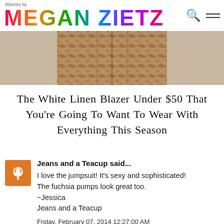tfdiaries by MEGAN ZIETZ
[Figure (photo): Cropped photo of a patterned fabric garment (jumpsuit) on a tan/beige background]
The White Linen Blazer Under $50 That You're Going To Want To Wear With Everything This Season
Jeans and a Teacup said...
I love the jumpsuit! It's sexy and sophisticated! The fuchsia pumps look great too.
~Jessica
Jeans and a Teacup

Friday, February 07, 2014 12:27:00 AM